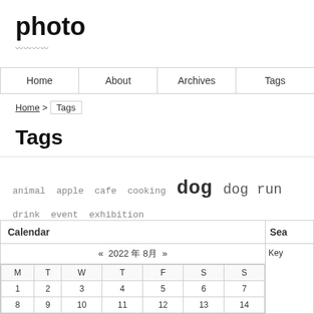photo
（Japanese characters / subtitle）
| Home | About | Archives | Tags |
| --- | --- | --- | --- |
Home > Tags
Tags
animal apple cafe cooking dog dog run drink event exhibition landscape lens life outdoor park plant traveling
Calendar
| M | T | W | T | F | S | S |
| --- | --- | --- | --- | --- | --- | --- |
| 1 | 2 | 3 | 4 | 5 | 6 | 7 |
| 8 | 9 | 10 | 11 | 12 | 13 | 14 |
Sear
Key